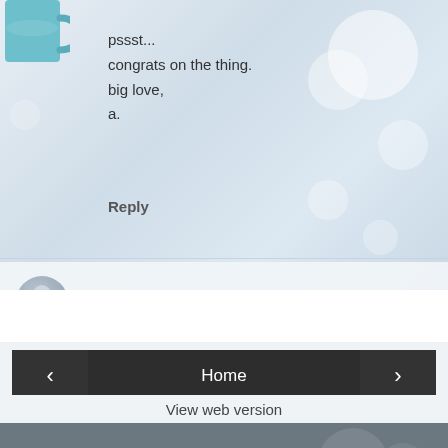[Figure (screenshot): Teal mug in top left corner of blog comment section]
pssst...
congrats on the thing.
big love,
a.
Reply
[Figure (screenshot): Comment input field with user avatar placeholder and 'Enter Comment' placeholder text]
[Figure (screenshot): Navigation bar with previous arrow button, Home button, and next arrow button]
View web version
ABOUT ME
[Figure (photo): Black and white photo of Sarah, a woman smiling]
Sarah
a)wife b)mom c)nurse d)believer e)all of the above
View my complete profile